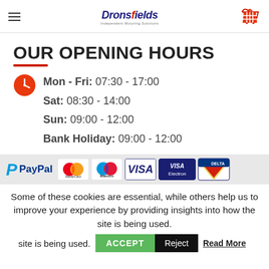Dronsfields (logo) — hamburger menu and basket icon
OUR OPENING HOURS
Mon - Fri: 07:30 - 17:00
Sat: 08:30 - 14:00
Sun: 09:00 - 12:00
Bank Holiday: 09:00 - 12:00
[Figure (infographic): Payment method logos: PayPal, MasterCard, Maestro, VISA, VISA Electron, Delta]
Some of these cookies are essential, while others help us to improve your experience by providing insights into how the site is being used.
ACCEPT  Reject  Read More